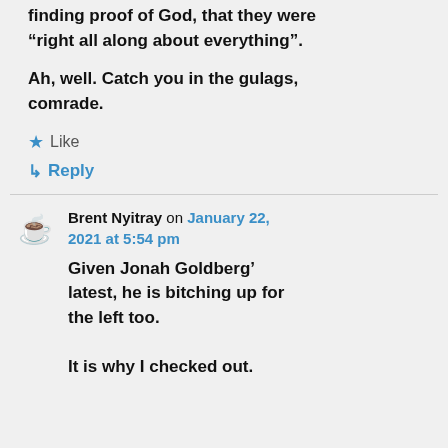finding proof of God, that they were “right all along about everything”.
Ah, well. Catch you in the gulags, comrade.
★ Like
↳ Reply
Brent Nyitray on January 22, 2021 at 5:54 pm
Given Jonah Goldberg’ latest, he is bitching up for the left too.
It is why I checked out.